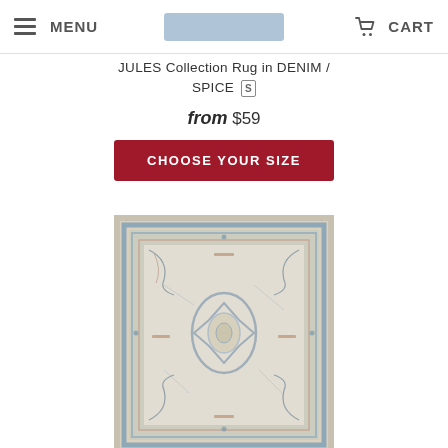MENU | CART
JULES Collection Rug in DENIM / SPICE [S]
from $59
CHOOSE YOUR SIZE
[Figure (photo): Product photo of a traditional-style area rug with denim blue and spice tones, featuring an ornate medallion center and distressed vintage look on a cream/beige ground.]